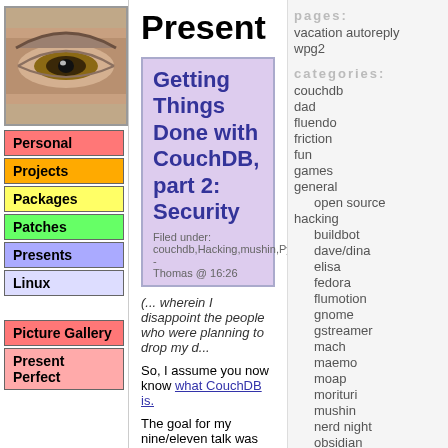[Figure (photo): Close-up photo of a human eye]
Personal
Projects
Packages
Patches
Presents
Linux
Picture Gallery
Present Perfect
Present Pe...
Getting Things Done with CouchDB, part 2: Security
Filed under: couchdb,Hacking,mushin,Python - Thomas @ 16:26
(... wherein I disappoint the people who were planning to drop my d...
So, I assume you now know what CouchDB is.
The goal for my nine/eleven talk was simply to add authentication to mushin, making it as user-friendly as possible, and as secure as CouchDB is going to let me.
pages:
vacation autoreply
wpg2
categories:
couchdb
dad
fluendo
friction
fun
games
general
open source
hacking
buildbot
dave/dina
elisa
fedora
flumotion
gnome
gstreamer
mach
maemo
moap
morituri
mushin
nerd night
obsidian
puppet
pychecker